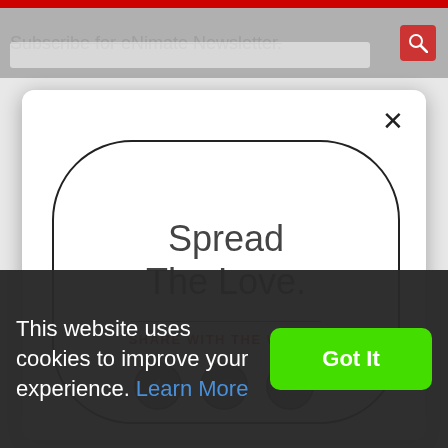Subscribe for eNimate Newsletter.
[Figure (screenshot): Website modal popup with 'Spread The Love.' text inside a rounded rectangle border, SHARE WITH THE WORLD subtitle in red, close X button, and three social media icon circles (Facebook, Twitter, LinkedIn) at the bottom of the modal.]
This website uses cookies to improve your experience. Learn More
Got It